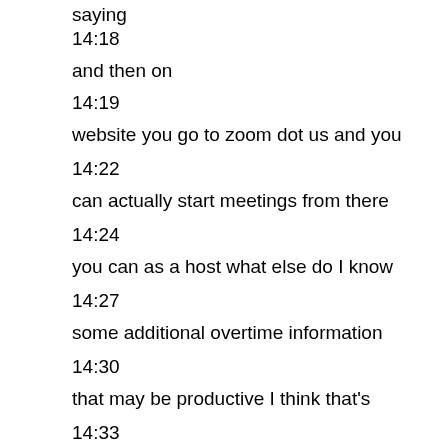saying
14:18
and then on
14:19
website you go to zoom dot us and you
14:22
can actually start meetings from there
14:24
you can as a host what else do I know
14:27
some additional overtime information
14:30
that may be productive I think that's
14:33
basically about it that should be enough
14:36
do you for you to get started you know
14:39
it's really easy you know just three